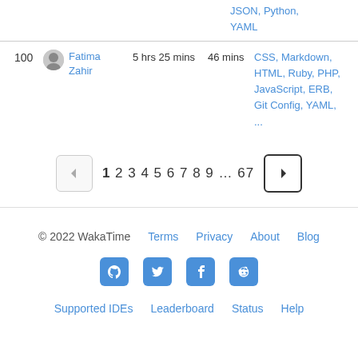JSON, Python, YAML
| Rank | User | Total Time | Daily Avg | Languages |
| --- | --- | --- | --- | --- |
| 100 | Fatima Zahir | 5 hrs 25 mins | 46 mins | CSS, Markdown, HTML, Ruby, PHP, JavaScript, ERB, Git Config, YAML, ... |
1 2 3 4 5 6 7 8 9 ... 67
© 2022 WakaTime  Terms  Privacy  About  Blog  Supported IDEs  Leaderboard  Status  Help